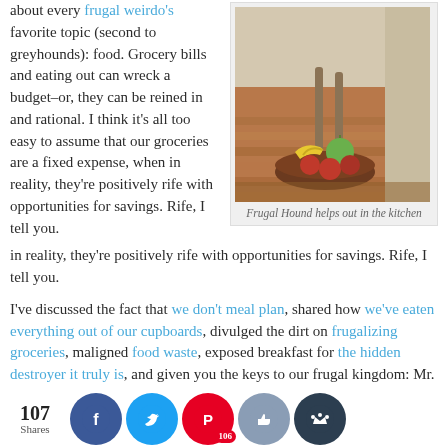about every frugal weirdo's favorite topic (second to greyhounds): food. Grocery bills and eating out can wreck a budget–or, they can be reined in and rational. I think it's all too easy to assume that our groceries are a fixed expense, when in reality, they're positively rife with opportunities for savings. Rife, I tell you.
[Figure (photo): A greyhound dog standing near a bowl of fruit (bananas, green apple, red apples) on a wooden floor]
Frugal Hound helps out in the kitchen
I've discussed the fact that we don't meal plan, shared how we've eaten everything out of our cupboards, divulged the dirt on frugalizing groceries, maligned food waste, exposed breakfast for the hidden destroyer it truly is, and given you the keys to our frugal kingdom: Mr. Frugalwoods' epic rice-n-beans recipe. Yet over and 've re the q ut, wh ou ea
[Figure (infographic): Social sharing bar with 107 Shares count, and buttons for Facebook, Twitter, Pinterest (106), thumbs up, and crown icon]